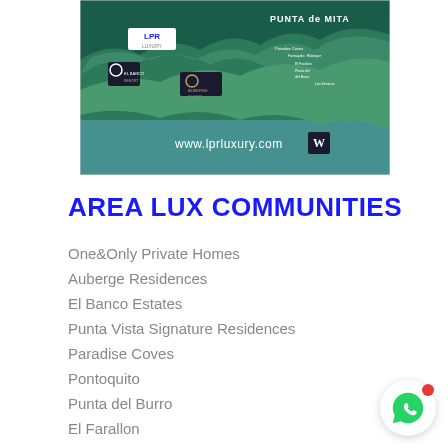[Figure (map): Aerial/satellite map of Punta de Mita area showing LPR Luxury branded locations including El Banco, Auberge Resort, Paradise Coves, Fontaquila, Butirique, El Farallon, Punta del Burro, Los Veneros, and a W hotel marker. Shows www.lprluxury.com website.]
AREA LUX COMMUNITIES
One&Only Private Homes
Auberge Residences
El Banco Estates
Punta Vista Signature Residences
Paradise Coves
Pontoquito
Punta del Burro
El Farallon
Los Veneros
Real del Mar
Aura Arena Blanca